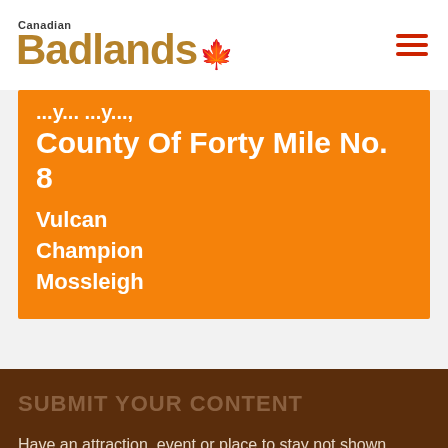Canadian Badlands
County Of Forty Mile No. 8
Vulcan
Champion
Mossleigh
SUBMIT YOUR CONTENT
Have an attraction, event or place to stay not shown here? Then submit your content using the link below.
Submit